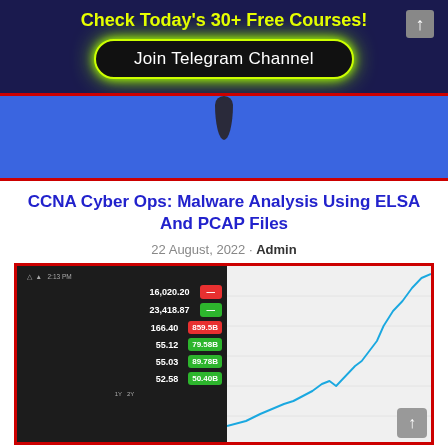Check Today's 30+ Free Courses!
Join Telegram Channel
[Figure (illustration): Blue banner with dark drip/drop shape icon, red borders top and bottom]
CCNA Cyber Ops: Malware Analysis Using ELSA And PCAP Files
22 August, 2022 · Admin
[Figure (screenshot): Stock trading app showing values 16,020.20, 23,418.87, 166.40, 55.12, 55.03, 52.58 with colored badges (859.5B red, 79.58B green, 89.78B green, 50.40B green) alongside a rising blue line chart on light gray background]